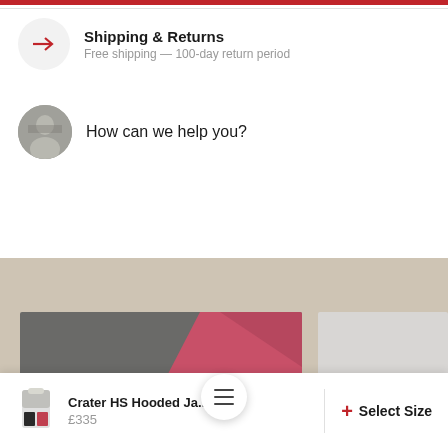[Figure (infographic): Red horizontal bar at top of page (website header accent)]
Shipping & Returns
Free shipping — 100-day return period
How can we help you?
[Figure (screenshot): E-commerce product listing page section with beige background showing product cards with grey and red/pink graphic panels]
Crater HS Hooded Ja...
£335
+ Select Size